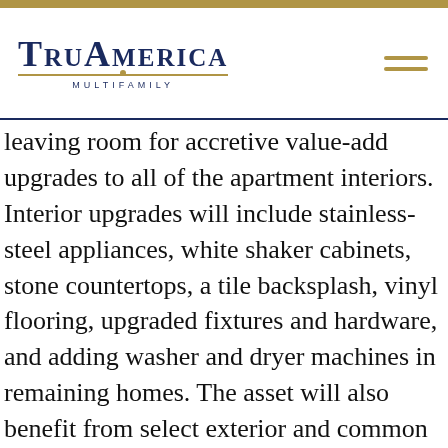[Figure (logo): TruAmerica Multifamily logo with navy blue text and gold underline with center dot]
leaving room for accretive value-add upgrades to all of the apartment interiors. Interior upgrades will include stainless-steel appliances, white shaker cabinets, stone countertops, a tile backsplash, vinyl flooring, upgraded fixtures and hardware, and adding washer and dryer machines in remaining homes. The asset will also benefit from select exterior and common area upgrades, including a light refresh of the clubhouse and new fitness equipment. New landscaping, exterior paint, and a pressure wash will improve the curb appeal of Twin Lakes.